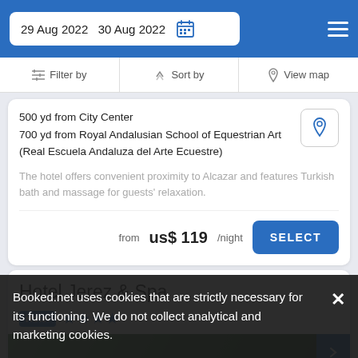29 Aug 2022  30 Aug 2022
Filter by  Sort by  View map
500 yd from City Center
700 yd from Royal Andalusian School of Equestrian Art (Real Escuela Andaluza del Arte Ecuestre)
The hotel offers convenient proximity to Alcazar and features Turkish bath and massage for guests' relaxation.
from  us$ 119/night
SELECT
Hotel Jerez & Spa
Hotel ★★★★
Booked.net uses cookies that are strictly necessary for its functioning. We do not collect analytical and marketing cookies.